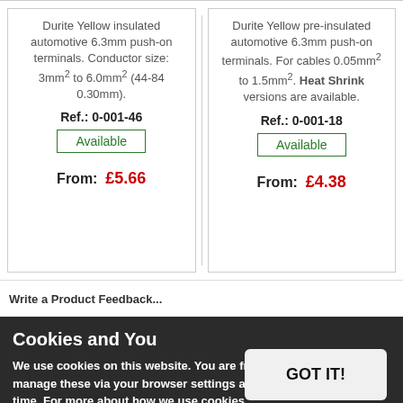Durite Yellow insulated automotive 6.3mm push-on terminals. Conductor size: 3mm² to 6.0mm² (44-84 0.30mm). Ref.: 0-001-46 Available From: £5.66
Durite Yellow pre-insulated automotive 6.3mm push-on terminals. For cables 0.05mm² to 1.5mm². Heat Shrink versions are available. Ref.: 0-001-18 Available From: £4.38
Write a Product Feedback...
Cookies and You
We use cookies on this website. You are free to manage these via your browser settings at any time. For more about how we use cookies, please see our Privacy Policy.
GOT IT!
| Sign In    ponents Limited